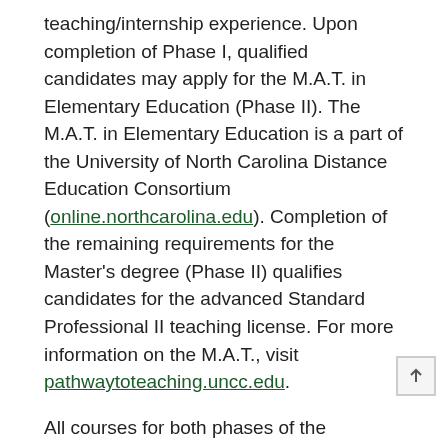teaching/internship experience. Upon completion of Phase I, qualified candidates may apply for the M.A.T. in Elementary Education (Phase II). The M.A.T. in Elementary Education is a part of the University of North Carolina Distance Education Consortium (online.northcarolina.edu). Completion of the remaining requirements for the Master's degree (Phase II) qualifies candidates for the advanced Standard Professional II teaching license. For more information on the M.A.T., visit pathwaytoteaching.uncc.edu.
All courses for both phases of the Graduate Certificate/M.A.T. must be completed within six years. Coursework within Phase I/Graduate Certificate must be completed within four years.
General Requirements for